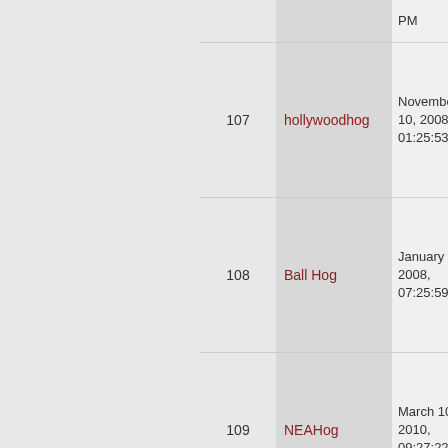| # | Username | Date |
| --- | --- | --- |
|  |  | PM |
| 107 | hollywoodhog | November 10, 2008, 01:25:53 PM |
| 108 | Ball Hog | January 06, 2008, 07:25:59 PM |
| 109 | NEAHog | March 10, 2010, 09:27:22 PM |
| 110 | Ironhawg | February 08, 2008, 10:53:47 PM |
| 111 | preacher | August 09, 2007, 03:46:51 PM |
| 112 | hollywoodhog | October 09, 2008, 01:38:59 PM |
|  |  | October |